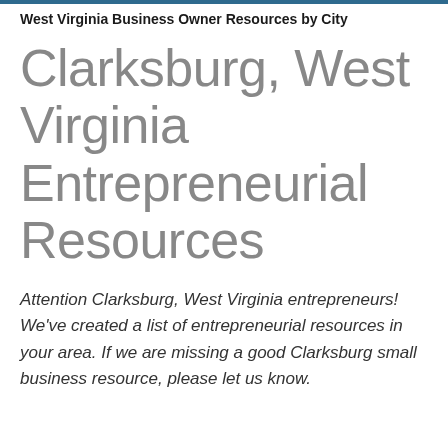West Virginia Business Owner Resources by City
Clarksburg, West Virginia Entrepreneurial Resources
Attention Clarksburg, West Virginia entrepreneurs! We've created a list of entrepreneurial resources in your area. If we are missing a good Clarksburg small business resource, please let us know.